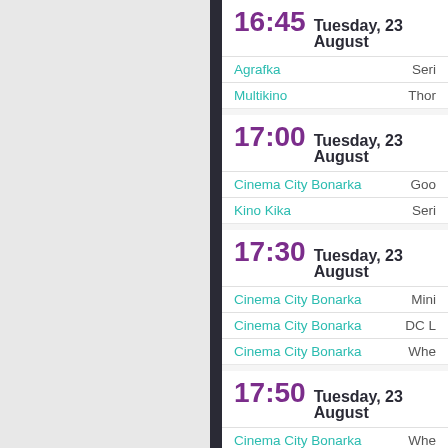16:45 Tuesday, 23 August
Agrafka — Seri
Multikino — Thor
17:00 Tuesday, 23 August
Cinema City Bonarka — Goo
Kino Kika — Seri
17:30 Tuesday, 23 August
Cinema City Bonarka — Mini
Cinema City Bonarka — DC L
Cinema City Bonarka — Whe
17:50 Tuesday, 23 August
Cinema City Bonarka — Whe
18:00 Tuesday, 23 August